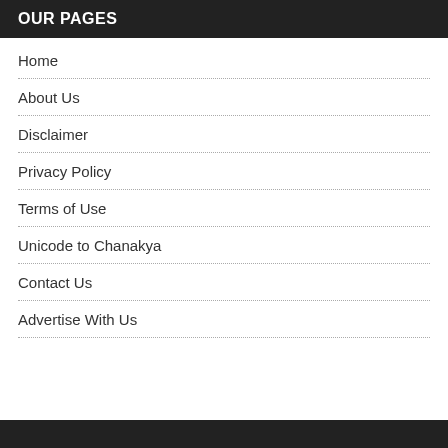OUR PAGES
Home
About Us
Disclaimer
Privacy Policy
Terms of Use
Unicode to Chanakya
Contact Us
Advertise With Us